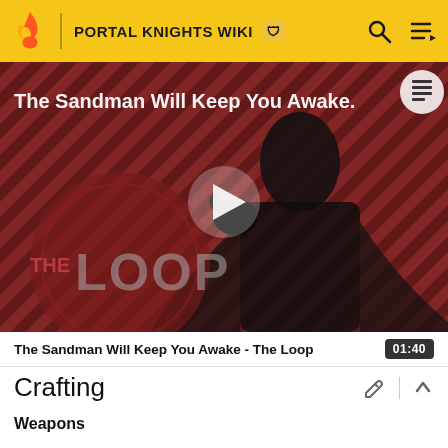PORTAL KNIGHTS WIKI
[Figure (screenshot): Video thumbnail for 'The Sandman Will Keep You Awake - The Loop' showing a dark-dressed figure in front of a red and black diagonal striped background with THE LOOP logo overlay and a white play button in the center.]
The Sandman Will Keep You Awake - The Loop  01:40
Crafting
Weapons